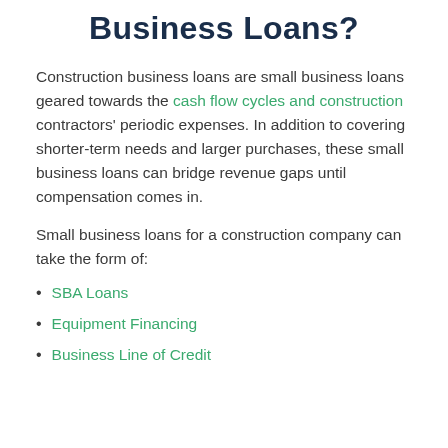Business Loans?
Construction business loans are small business loans geared towards the cash flow cycles and construction contractors' periodic expenses. In addition to covering shorter-term needs and larger purchases, these small business loans can bridge revenue gaps until compensation comes in.
Small business loans for a construction company can take the form of:
SBA Loans
Equipment Financing
Business Line of Credit